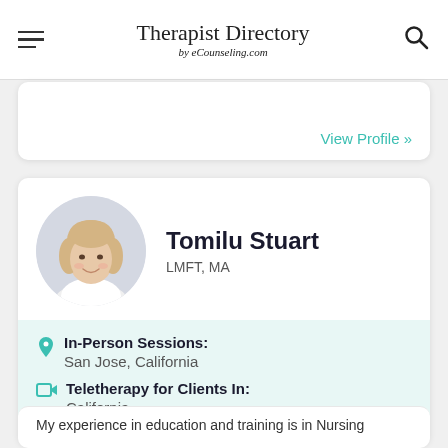Therapist Directory by eCounseling.com
View Profile »
Tomilu Stuart
LMFT, MA
In-Person Sessions: San Jose, California
Teletherapy for Clients In: California
My experience in education and training is in Nursing